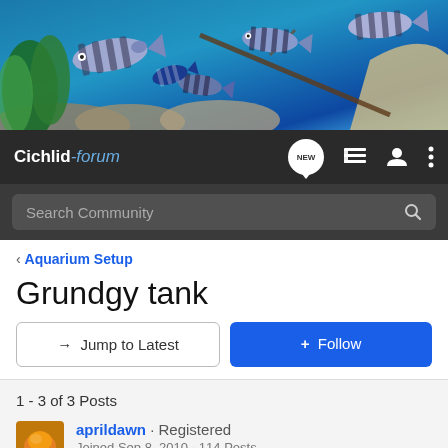[Figure (photo): Aquarium banner photo showing striped cichlid fish (likely Tropheus or Frontosa) swimming in a blue-lit tank with rocks and green plants]
Cichlid-forum
Search Community
< Aquarium Setup
Grundgy tank
→ Jump to Latest
+ Follow
1 - 3 of 3 Posts
aprildawn · Registered
Joined Sep 8, 2010 · 114 Posts